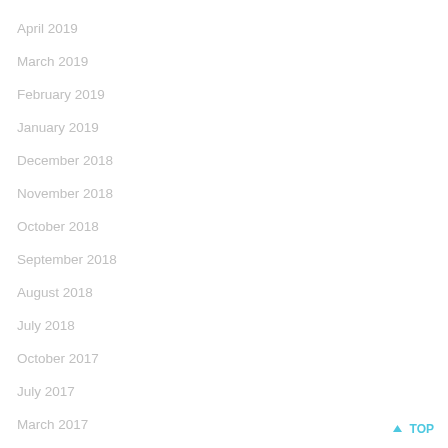April 2019
March 2019
February 2019
January 2019
December 2018
November 2018
October 2018
September 2018
August 2018
July 2018
October 2017
July 2017
March 2017
↑ TOP